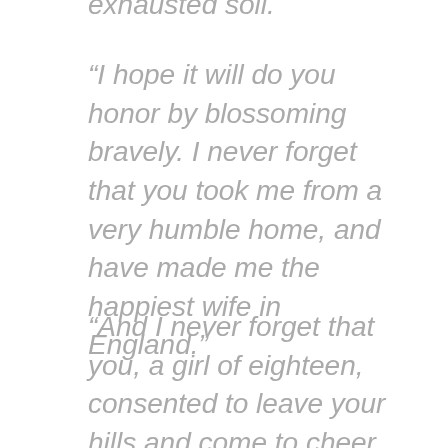exhausted soil.
“I hope it will do you honor by blossoming bravely. I never forget that you took me from a very humble home, and have made me the happiest wife in England.”
“And I never forget that you, a girl of eighteen, consented to leave your hills and come to cheer the